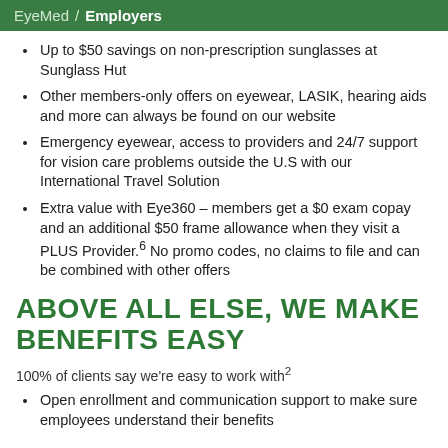EyeMed / Employers
Up to $50 savings on non-prescription sunglasses at Sunglass Hut
Other members-only offers on eyewear, LASIK, hearing aids and more can always be found on our website
Emergency eyewear, access to providers and 24/7 support for vision care problems outside the U.S with our International Travel Solution
Extra value with Eye360 – members get a $0 exam copay and an additional $50 frame allowance when they visit a PLUS Provider.6 No promo codes, no claims to file and can be combined with other offers
ABOVE ALL ELSE, WE MAKE BENEFITS EASY
100% of clients say we're easy to work with2
Open enrollment and communication support to make sure employees understand their benefits